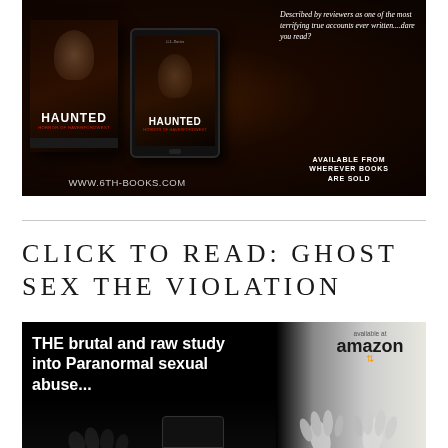[Figure (illustration): Advertisement banner for 'Haunted: Horror of Haverfordwest' book showing physical book and tablet device with the cover, dark atmospheric background, text reading 'Described by reviewers as one of the most terrifying true accounts ever written....dare you read?', 'AVAILABLE FROM WHEREVER BOOKS ARE SOLD', and website URL 'WWW.6TH-BOOKS.COM']
CLICK TO READ: GHOST SEX THE VIOLATION
[Figure (illustration): Advertisement banner with black background showing text 'THE brutal and raw study into Paranormal sexual abuse...' with Amazon availability badge and ghost/figure silhouette on white right side with hands pressed against surface]